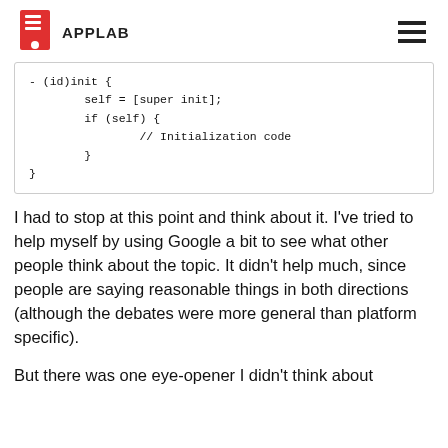APPLAB
I had to stop at this point and think about it. I've tried to help myself by using Google a bit to see what other people think about the topic. It didn't help much, since people are saying reasonable things in both directions (although the debates were more general than platform specific).
But there was one eye-opener I didn't think about